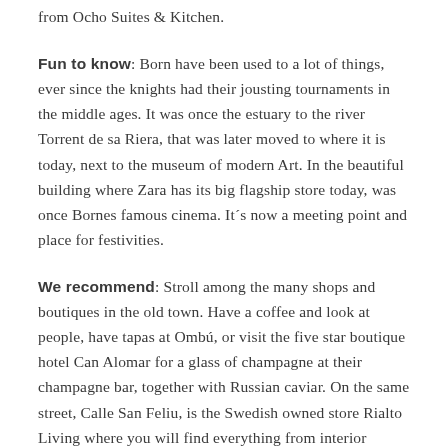from Ocho Suites & Kitchen.
Fun to know: Born have been used to a lot of things, ever since the knights had their jousting tournaments in the middle ages. It was once the estuary to the river Torrent de sa Riera, that was later moved to where it is today, next to the museum of modern Art. In the beautiful building where Zara has its big flagship store today, was once Bornes famous cinema. It´s now a meeting point and place for festivities.
We recommend: Stroll among the many shops and boutiques in the old town. Have a coffee and look at people, have tapas at Ombú, or visit the five star boutique hotel Can Alomar for a glass of champagne at their champagne bar, together with Russian caviar. On the same street, Calle San Feliu, is the Swedish owned store Rialto Living where you will find everything from interior design, clothing, flowers, great lunch and coffee as well as perfumes and gifts.